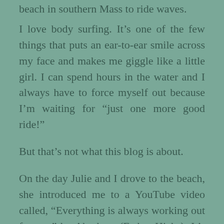beach in southern Mass to ride waves.
I love body surfing. It’s one of the few things that puts an ear-to-ear smile across my face and makes me giggle like a little girl. I can spend hours in the water and I always have to force myself out because I’m waiting for “just one more good ride!”
But that’s not what this blog is about.
On the day Julie and I drove to the beach, she introduced me to a YouTube video called, “Everything is always working out for me,” by Abraham (Esther Hicks). It’s a thirteen-minute compilation of